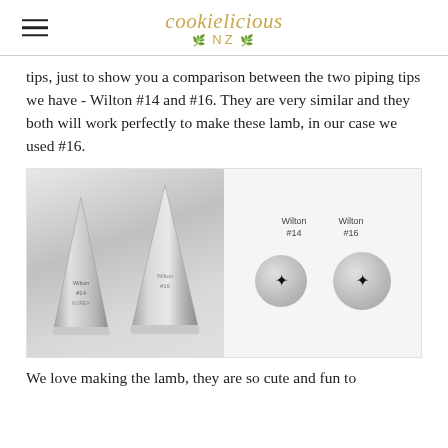cookielicious NZ
tips, just to show you a comparison between the two piping tips we have - Wilton #14 and #16. They are very similar and they both will work perfectly to make these lamb, in our case we used #16.
[Figure (photo): Two stainless steel piping tips (Wilton #14 and #16) side by side on the left, and on the right a top-down view of the two tips showing star-shaped openings, labeled Wilton #14 and Wilton #16.]
We love making the lamb, they are so cute and fun to